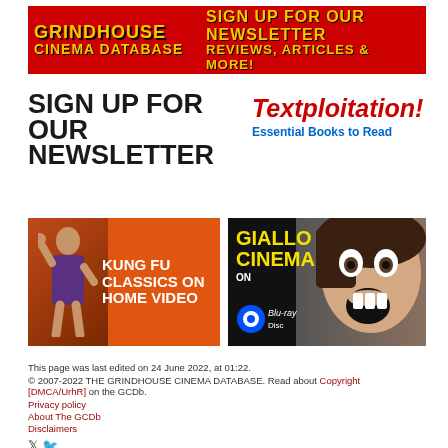[Figure (illustration): Grindhouse Cinema Database banner: red background, yellow bold text on left reading GRINDHOUSE CINEMA DATABASE, right side yellow text reading SIGN UP FOR OUR NEWSLETTER REVIEWS, ARTICLES & MORE!]
[Figure (illustration): Sign Up For Our Newsletter heading in large bold stamp-style font, black text on white]
[Figure (illustration): Textploitation! Essential Books to Read - red italic bold title with blue subtitle]
[Figure (illustration): Kung Fu Classics on Home Video - orange background with martial artist silhouette and white bold text]
[Figure (illustration): Giallo Cinema on Blu-ray Disc - black background with screaming woman face and yellow text, Blu-ray logo]
This page was last edited on 24 June 2022, at 01:22.
© 2007-2022 THE GRINDHOUSE CINEMA DATABASE. Read about Copyright [DMCA/UrhR] on the GCDb.
Privacy policy
About The GCDb
Disclaimers